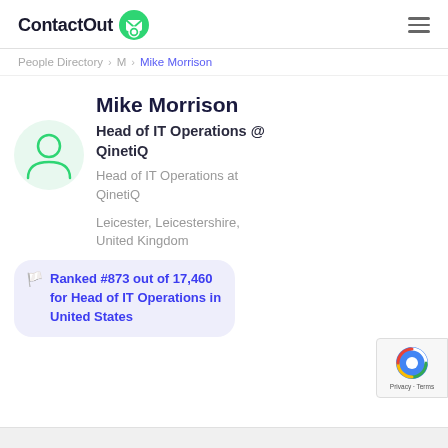ContactOut
People Directory > M > Mike Morrison
Mike Morrison
Head of IT Operations @ QinetiQ
Head of IT Operations at QinetiQ
Leicester, Leicestershire, United Kingdom
Ranked #873 out of 17,460 for Head of IT Operations in United States